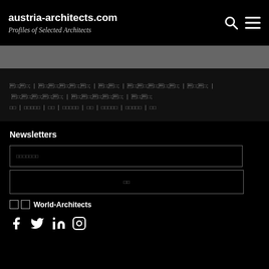austria-architects.com
Profiles of Selected Architects
□□ | □□□□□ | □□ | □□□□□ | □□ | □□□□□ | □□□□□ | □□
Newsletters
□□□□□□□ (email input placeholder)
□□ (subscribe button)
□ □ World-Architects
[Figure (other): Social media icons: Facebook, Twitter, LinkedIn, Instagram]